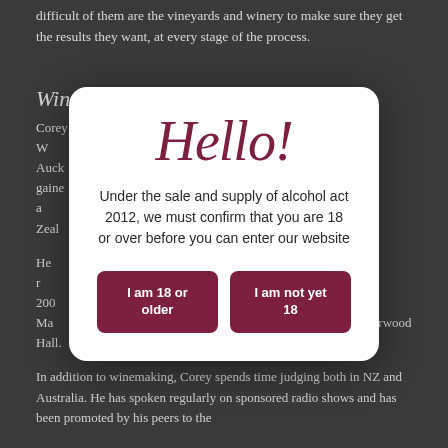difficult of them are the vineyards and winery to make sure they get the results they want, at every stage of the process.
Winemaker – Corey Hall
Corey grew up around the beaches, orchards and vineyards of W... of Auckland... d gained... ed as a... w Zealand... year...
He r... business... established... in 2008... with a Ma... other brand Harwood Hall.
In addition to winemaking, Corey spends time judging both in NZ and Australia. He has spoken regularly on sponsored radio shows and has been promoted by his peers to the
[Figure (other): Age verification modal dialog with 'Hello!' script heading, text about Sale and Supply of Alcohol Act 2012 requiring age confirmation, and two buttons: 'I am 18 or older' and 'I am not yet 18']